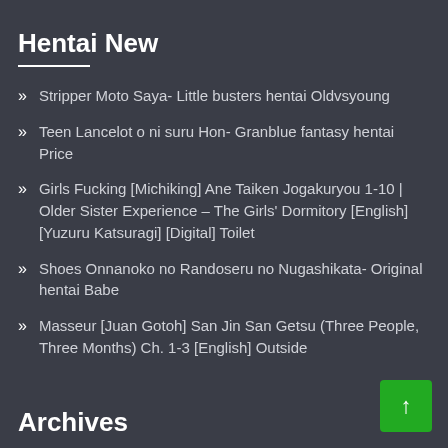Hentai New
Stripper Moto Saya- Little busters hentai Oldvsyoung
Teen Lancelot o ni suru Hon- Granblue fantasy hentai Price
Girls Fucking [Michiking] Ane Taiken Jogakuryou 1-10 | Older Sister Experience – The Girls' Dormitory [English] [Yuzuru Katsuragi] [Digital] Toilet
Shoes Onnanoko no Randoseru no Nugashikata- Original hentai Babe
Masseur [Juan Gotoh] San Jin San Getsu (Three People, Three Months) Ch. 1-3 [English] Outside
Archives